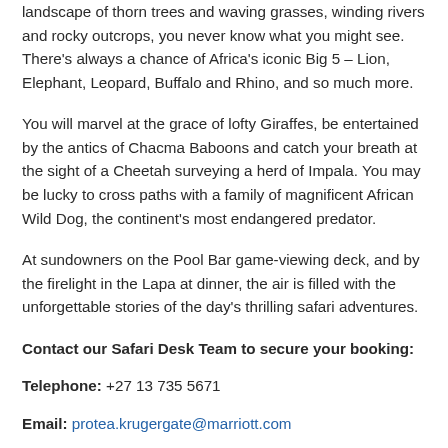landscape of thorn trees and waving grasses, winding rivers and rocky outcrops, you never know what you might see. There's always a chance of Africa's iconic Big 5 – Lion, Elephant, Leopard, Buffalo and Rhino, and so much more.
You will marvel at the grace of lofty Giraffes, be entertained by the antics of Chacma Baboons and catch your breath at the sight of a Cheetah surveying a herd of Impala. You may be lucky to cross paths with a family of magnificent African Wild Dog, the continent's most endangered predator.
At sundowners on the Pool Bar game-viewing deck, and by the firelight in the Lapa at dinner, the air is filled with the unforgettable stories of the day's thrilling safari adventures.
Contact our Safari Desk Team to secure your booking:
Telephone: +27 13 735 5671
Email: protea.krugergate@marriott.com